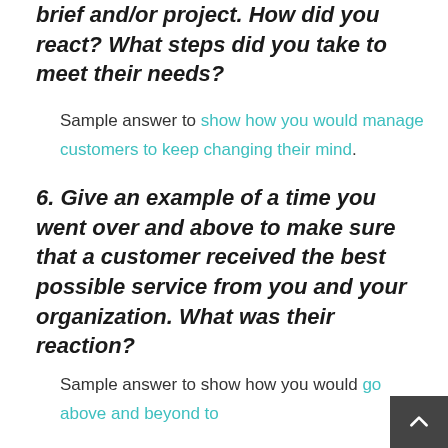brief and/or project. How did you react? What steps did you take to meet their needs?
Sample answer to show how you would manage customers to keep changing their mind.
6. Give an example of a time you went over and above to make sure that a customer received the best possible service from you and your organization. What was their reaction?
Sample answer to show how you would go above and beyond to